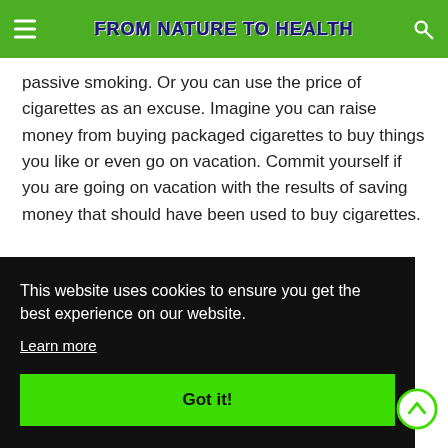From Nature to Health
passive smoking. Or you can use the price of cigarettes as an excuse. Imagine you can raise money from buying packaged cigarettes to buy things you like or even go on vacation. Commit yourself if you are going on vacation with the results of saving money that should have been used to buy cigarettes.
This website uses cookies to ensure you get the best experience on our website.
Learn more
Got it!